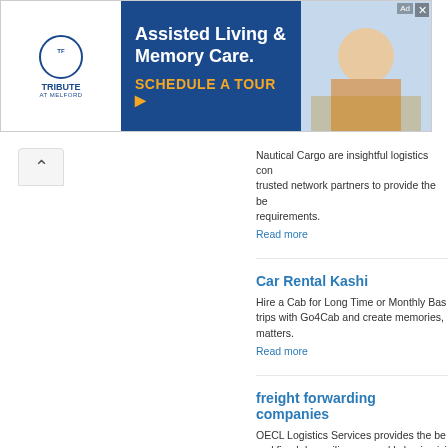[Figure (other): Advertisement banner for Tribute at Melford Assisted Living & Memory Care with 'Schedule a Tour' call to action]
Nautical Cargo are insightful logistics consultants. trusted network partners to provide the best requirements.
Read more
Car Rental Kashi
Hire a Cab for Long Time or Monthly Basis, trips with Go4Cab and create memories, matters.
Read more
freight forwarding companies
OECL Logistics Services provides the best and fixed day sailing on weekly basis giving shipments and e-updates.
Read more
Send Parcel to Family Abroad
Send Courier From Home. Easily Couriers